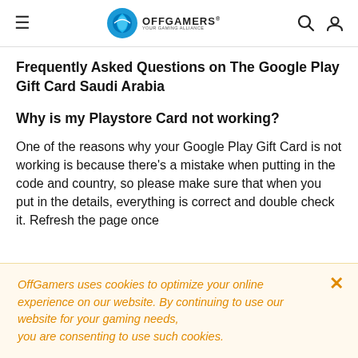OFFGAMERS
Frequently Asked Questions on The Google Play Gift Card Saudi Arabia
Why is my Playstore Card not working?
One of the reasons why your Google Play Gift Card is not working is because there’s a mistake when putting in the code and country, so please make sure that when you put in the details, everything is correct and double check it. Refresh the page once
OffGamers uses cookies to optimize your online experience on our website. By continuing to use our website for your gaming needs, you are consenting to use such cookies.